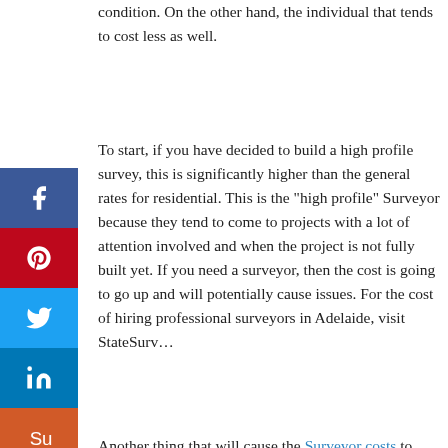condition. On the other hand, the individual that tends to cost less as well.
To start, if you have decided to build a high profile survey, this is significantly higher than the general rates for residential. This is the "high profile" Surveyor because they tend to come to projects with a lot of attention involved and when the project is not fully built yet. If you need a surveyor, then the cost is going to go up and will potentially cause issues. For the cost of hiring professional surveyors in Adelaide, visit StateSurv...
Another thing that will cause the Surveyor costs to increase is if there is a construction. If you have a retaining wall built, the Surveyor is going to need to examine the wall to get a better look at it. This is going to add a surcharge as these are going to be a bit bigger than the other features in the fence.